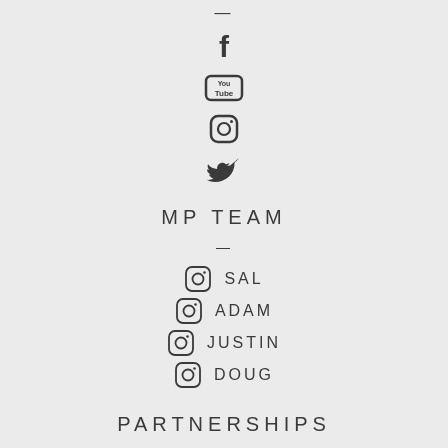[Figure (illustration): Dash separator line at top]
[Figure (illustration): Facebook icon]
[Figure (illustration): YouTube icon]
[Figure (illustration): Instagram icon]
[Figure (illustration): Twitter icon]
MP TEAM
—
SAL
ADAM
JUSTIN
DOUG
PARTNERSHIPS
—